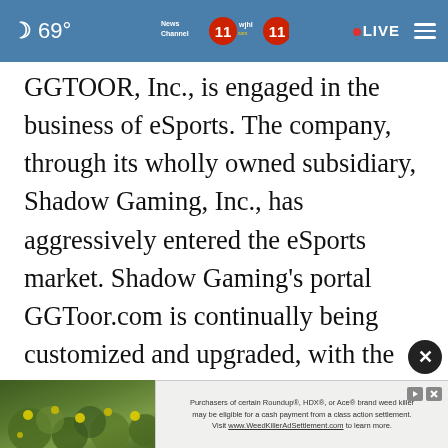69° News Channel 11 WJHL 11 • LIVE
GGTOOR, Inc., is engaged in the business of eSports. The company, through its wholly owned subsidiary, Shadow Gaming, Inc., has aggressively entered the eSports market. Shadow Gaming's portal GGToor.com is continually being customized and upgraded, with the goal of becoming one of the most comprehensive gaming portals in the world. The Company is now accepting subscriptions from players, gamers, and tournament organi… Toor.
[Figure (screenshot): Ad banner at bottom: photo of plants with yellow flowers on left; text advertisement for Roundup/HDX/Ace brand weed killer class action settlement mentioning www.WeedKillerAdSettlement.com]